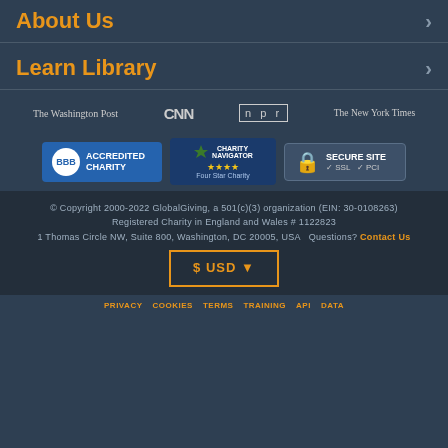About Us
Learn Library
[Figure (logo): Media logos: The Washington Post, CNN, NPR, The New York Times]
[Figure (logo): Trust badges: BBB Accredited Charity, Charity Navigator Four Star Charity, Secure Site SSL PCI]
© Copyright 2000-2022 GlobalGiving, a 501(c)(3) organization (EIN: 30-0108263) Registered Charity in England and Wales # 1122823 1 Thomas Circle NW, Suite 800, Washington, DC 20005, USA  Questions? Contact Us
$ USD ▼
PRIVACY  COOKIES  TERMS  TRAINING  API  DATA